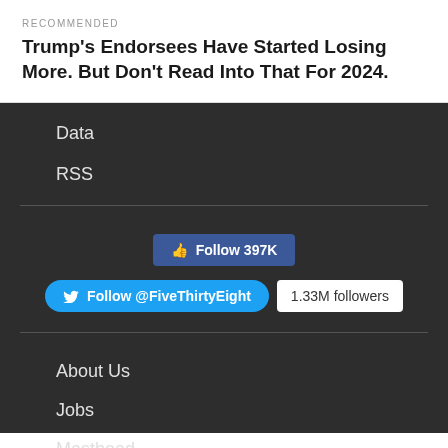RECOMMENDED
Trump's Endorsees Have Started Losing More. But Don't Read Into That For 2024.
Data
RSS
[Figure (other): Facebook Follow button showing 397K followers]
[Figure (other): Twitter Follow @FiveThirtyEight button with 1.33M followers badge]
About Us
Jobs
Masthead